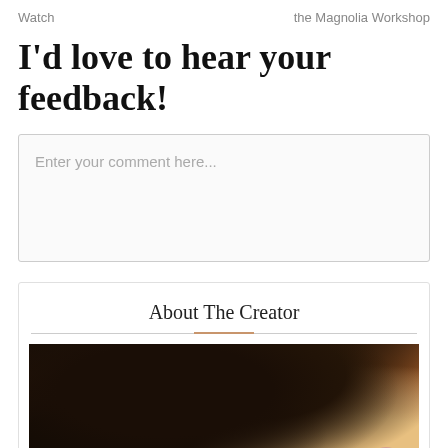Watch    the Magnolia Workshop
I'd love to hear your feedback!
Enter your comment here...
About The Creator
[Figure (photo): Portrait photo of a person with curly hair, warm golden/orange bokeh background lighting]